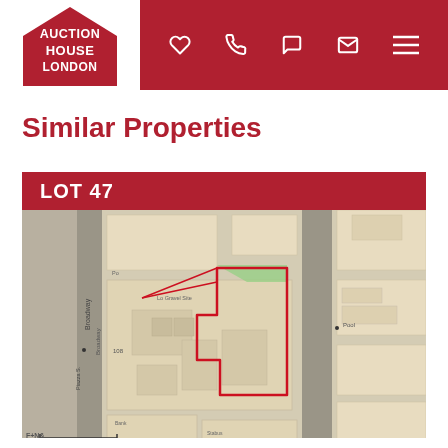[Figure (logo): Auction House London logo - red house-shaped pentagon with white text]
[Figure (infographic): Navigation bar icons: heart, phone, WhatsApp, email, hamburger menu on red background]
Similar Properties
LOT 47
[Figure (map): Ordnance Survey style map showing plot outline highlighted in red for Lot 47, showing Broadway area with buildings, streets and a green highlighted parcel. Scale bar showing 18.8m at bottom.]